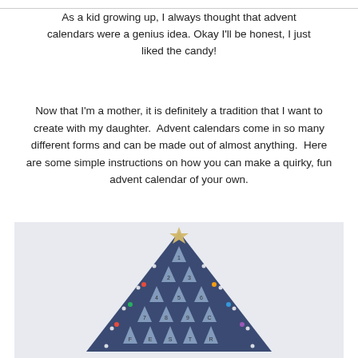As a kid growing up, I always thought that advent calendars were a genius idea. Okay I'll be honest, I just liked the candy!
Now that I'm a mother, it is definitely a tradition that I want to create with my daughter. Advent calendars come in so many different forms and can be made out of almost anything. Here are some simple instructions on how you can make a quirky, fun advent calendar of your own.
[Figure (photo): A handmade advent calendar shaped like a Christmas tree made of dark blue felt, with small triangle-shaped numbered pockets arranged in rows, colorful dot decorations, and a gold star on top, set against a light grey-blue background.]